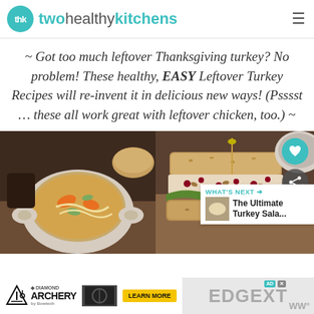twohealthykitchens
~ Got too much leftover Thanksgiving turkey? No problem! These healthy, EASY Leftover Turkey Recipes will re-invent it in delicious new ways! (Psssst … these all work great with leftover chicken, too.) ~
[Figure (photo): Two food photos side by side: left shows a bowl of turkey noodle soup with carrots and vegetables; right shows a turkey salad sandwich on whole grain bread with lettuce]
[Figure (infographic): Advertisement banner for Diamond Archery EdgeXT bow with Learn More button]